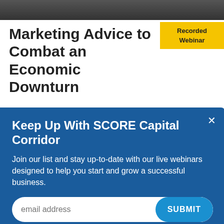[Figure (photo): Dark photo strip at top of page showing partial image]
Marketing Advice to Combat an Economic Downturn
Recorded Webinar
[Figure (screenshot): Modal popup overlay with email signup form - Keep Up With SCORE Capital Corridor]
IN PARTNERSHIP WITH
[Figure (logo): deluxe logo in white with red x]
POWERED BY
US Small Business (SBA logo)